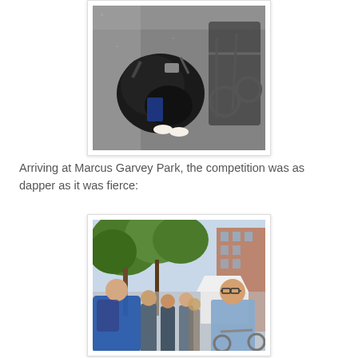[Figure (photo): Photo of bags and a folded wheelchair/mobility equipment packed into a small transport space, viewed from above/angle, taken inside what appears to be a vehicle or elevator corner with gray speckled floor]
Arriving at Marcus Garvey Park, the competition was as dapper as it was fierce:
[Figure (photo): Outdoor photo at Marcus Garvey Park showing a crowd of people walking along a shaded path lined with trees and market stalls. A man in a blue shirt and sunglasses is visible in the foreground right, and buildings are visible in the background.]